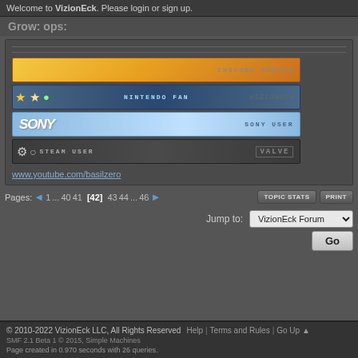Welcome to VizionEck. Please login or sign up.
Grow: ops:
[Figure (screenshot): Forum user badges: Chocobo Maniac, Nintendo Fan, Sony User, Steam User]
www.youtube.com/basilzero
Pages: ← 1 ... 40 41 [42] 43 44 ... 46 →
TOPIC STATS  PRINT
Jump to: VizionEck Forum
Go
© 2010-2022 VizionEck LLC, All Rights Reserved  Help | Terms and Rules | Go Up ▲
SMF 2.1 Beta 1 © 2015, Simple Machines
Page created in 0.970 seconds with 26 queries.